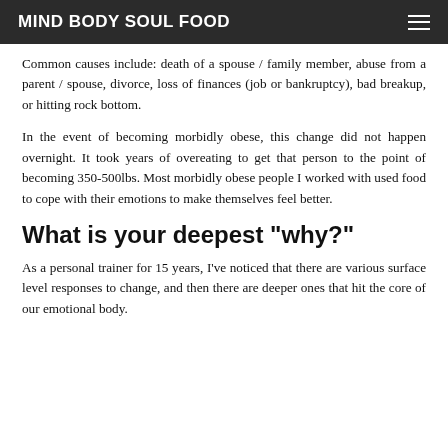MIND BODY SOUL FOOD
Common causes include: death of a spouse / family member, abuse from a parent / spouse, divorce, loss of finances (job or bankruptcy), bad breakup, or hitting rock bottom.
In the event of becoming morbidly obese, this change did not happen overnight. It took years of overeating to get that person to the point of becoming 350-500lbs. Most morbidly obese people I worked with used food to cope with their emotions to make themselves feel better.
What is your deepest "why?"
As a personal trainer for 15 years, I've noticed that there are various surface level responses to change, and then there are deeper ones that hit the core of our emotional body.